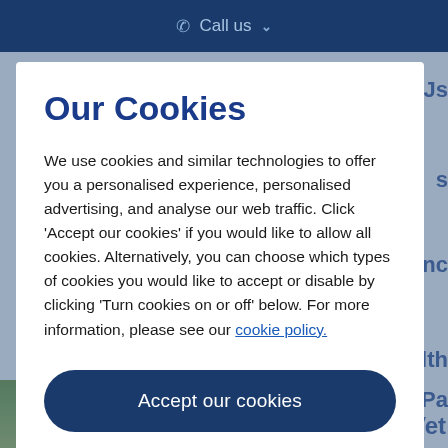Call us
Our Cookies
We use cookies and similar technologies to offer you a personalised experience, personalised advertising, and analyse our web traffic. Click 'Accept our cookies' if you would like to allow all cookies. Alternatively, you can choose which types of cookies you would like to accept or disable by clicking 'Turn cookies on or off' below. For more information, please see our cookie policy.
Accept our cookies
Turn cookies on or off